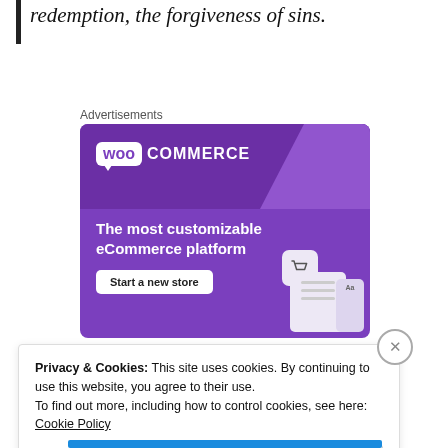redemption, the forgiveness of sins.
Advertisements
[Figure (other): WooCommerce advertisement banner with purple background. Shows WooCommerce logo at top, tagline 'The most customizable eCommerce platform', a 'Start a new store' button, a shopping cart icon, and decorative UI cards.]
Privacy & Cookies: This site uses cookies. By continuing to use this website, you agree to their use.
To find out more, including how to control cookies, see here: Cookie Policy
Close and accept